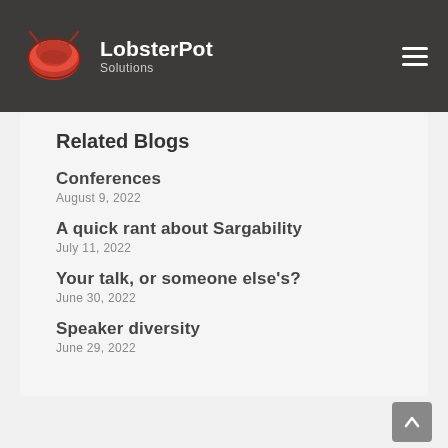LobsterPot Solutions
Related Blogs
Conferences
August 9, 2022
A quick rant about Sargability
July 11, 2022
Your talk, or someone else's?
June 30, 2022
Speaker diversity
June 29, 2022